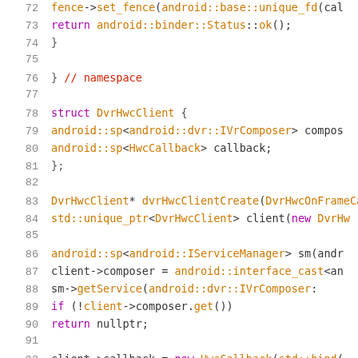Code listing lines 72-92, C++ source code for DvrHwcClient
72    fence->set_fence(android::base::unique_fd(cal
73    return android::binder::Status::ok();
74  }
75
76  }  // namespace
77
78  struct DvrHwcClient {
79    android::sp<android::dvr::IVrComposer> compos
80    android::sp<HwcCallback> callback;
81  };
82
83  DvrHwcClient* dvrHwcClientCreate(DvrHwcOnFrameCa
84    std::unique_ptr<DvrHwcClient> client(new DvrHw
85
86    android::sp<android::IServiceManager> sm(andr
87    client->composer = android::interface_cast<an
88        sm->getService(android::dvr::IVrComposer:
89    if (!client->composer.get())
90      return nullptr;
91
92    client->callback = new HwcCallback(std::bind(